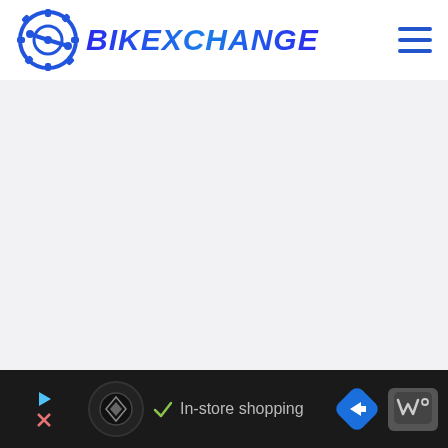[Figure (logo): BikExchange website header with gear/crank logo and BIKEXCHANGE text in bold blue italic, plus hamburger menu icon on the right]
[Figure (screenshot): Large light gray content area below the header, representing the main page body with no loaded content]
[Figure (infographic): Dark advertisement bar at the bottom showing a circular logo, checkmark with 'In-store shopping' text, a blue diamond navigation icon, and a weather/temperature app icon]